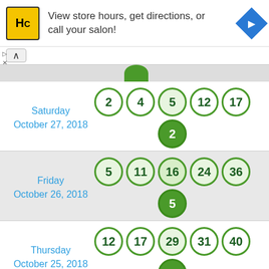[Figure (screenshot): HC salon advertisement banner with logo, text 'View store hours, get directions, or call your salon!' and a blue navigation icon]
Saturday October 27, 2018 — balls: 2, 4, 5, 12, 17 + powerball 2
Friday October 26, 2018 — balls: 5, 11, 16, 24, 36 + powerball 5
Thursday October 25, 2018 — balls: 12, 17, 29, 31, 40 + powerball 2
partial row showing balls: 16, 19, 20, 22, 34